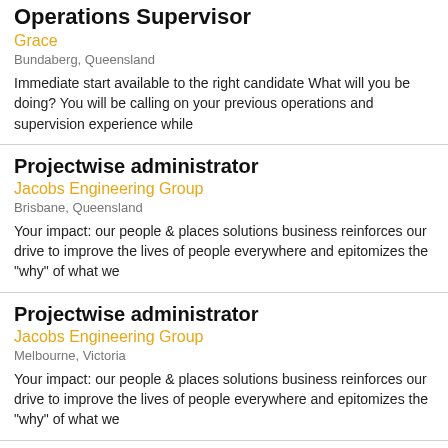Operations Supervisor
Grace
Bundaberg, Queensland
Immediate start available to the right candidate What will you be doing? You will be calling on your previous operations and supervision experience while
Projectwise administrator
Jacobs Engineering Group
Brisbane, Queensland
Your impact: our people & places solutions business reinforces our drive to improve the lives of people everywhere and epitomizes the "why" of what we
Projectwise administrator
Jacobs Engineering Group
Melbourne, Victoria
Your impact: our people & places solutions business reinforces our drive to improve the lives of people everywhere and epitomizes the "why" of what we
Projectwise administrator
Jacobs Engineering Group
Western Australia
Your impact: our people & places solutions business reinforces our drive to improve the lives of people everywhere and epitomizes the "why" of what we